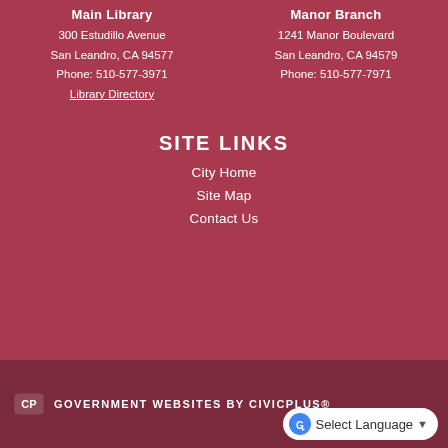Main Library
300 Estudillo Avenue
San Leandro, CA 94577
Phone: 510-577-3971
Library Directory
Manor Branch
1241 Manor Boulevard
San Leandro, CA 94579
Phone: 510-577-7971
SITE LINKS
City Home
Site Map
Contact Us
GOVERNMENT WEBSITES BY CIVICPLUS®